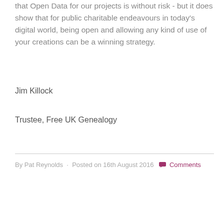that Open Data for our projects is without risk - but it does show that for public charitable endeavours in today's digital world, being open and allowing any kind of use of your creations can be a winning strategy.
Jim Killock
Trustee, Free UK Genealogy
By Pat Reynolds · Posted on 16th August 2016 💬 Comments